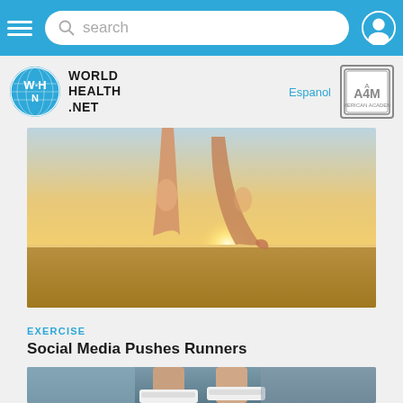search
[Figure (logo): World Health Net logo with globe icon]
Espanol
[Figure (logo): A4M badge/logo]
[Figure (photo): Close-up of runner's legs mid-stride against sunset over water]
EXERCISE
Social Media Pushes Runners
[Figure (photo): Close-up of runner's legs and sneakers on pavement]